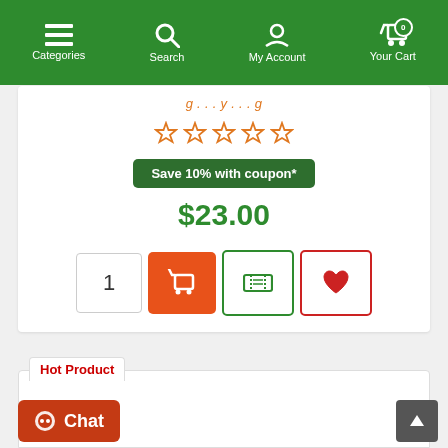Categories | Search | My Account | Your Cart (0)
Save 10% with coupon*
$23.00
1
Hot Product
Chat